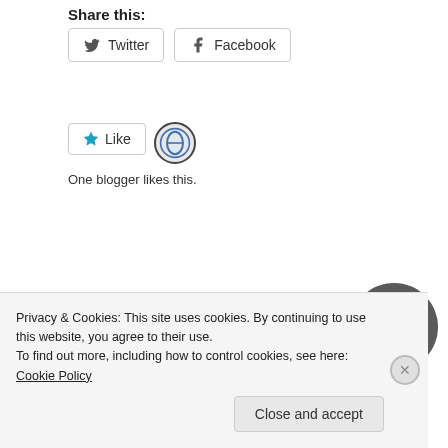Share this:
Twitter   Facebook
[Figure (other): Like button with star icon and ET blogger avatar circle. Text: One blogger likes this.]
Published by Jeremy Wadsack
View all posts by Jeremy Wadsack
[Figure (photo): Circular author photo of Jeremy Wadsack, a man with glasses and a beard, smiling.]
Privacy & Cookies: This site uses cookies. By continuing to use this website, you agree to their use. To find out more, including how to control cookies, see here: Cookie Policy
Close and accept